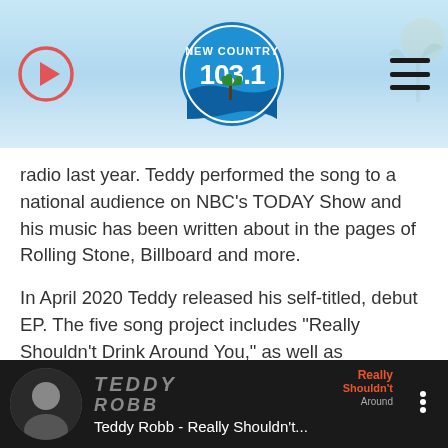New Country 103.1 — radio station header with play button and hamburger menu
radio last year. Teddy performed the song to a national audience on NBC's TODAY Show and his music has been written about in the pages of Rolling Stone, Billboard and more.

In April 2020 Teddy released his self-titled, debut EP. The five song project includes "Really Shouldn't Drink Around You," as well as previously released tracks "Lead Me On" and "Tell Me How," which have collectively been streamed over 80 million times. New tracks on the EP include "Me On You" and "Good Love & Good Whisky." The project was produced by Shane McAnally, Ben Fowler, and Matt McGinn.
[Figure (screenshot): YouTube/music player thumbnail showing Teddy Robb - Really Shouldn't... with artist photo and album art overlay]